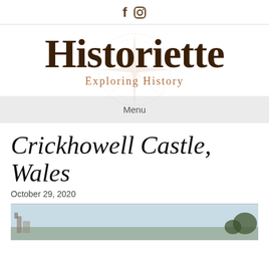f [instagram icon]
Historiette
Exploring History
Menu
Crickhowell Castle, Wales
October 29, 2020
[Figure (photo): Partial view of Crickhowell Castle ruins in Wales, with trees visible against a pale sky]